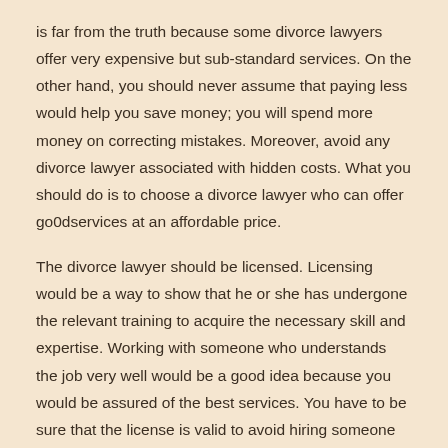is far from the truth because some divorce lawyers offer very expensive but sub-standard services. On the other hand, you should never assume that paying less would help you save money; you will spend more money on correcting mistakes. Moreover, avoid any divorce lawyer associated with hidden costs. What you should do is to choose a divorce lawyer who can offer go0dservices at an affordable price.
The divorce lawyer should be licensed. Licensing would be a way to show that he or she has undergone the relevant training to acquire the necessary skill and expertise. Working with someone who understands the job very well would be a good idea because you would be assured of the best services. You have to be sure that the license is valid to avoid hiring someone operating with an invalid license.